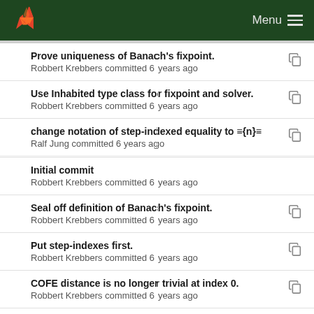Menu
Prove uniqueness of Banach's fixpoint.
Robbert Krebbers committed 6 years ago
Use Inhabited type class for fixpoint and solver.
Robbert Krebbers committed 6 years ago
change notation of step-indexed equality to ≡{n}≡
Ralf Jung committed 6 years ago
Initial commit
Robbert Krebbers committed 6 years ago
Seal off definition of Banach's fixpoint.
Robbert Krebbers committed 6 years ago
Put step-indexes first.
Robbert Krebbers committed 6 years ago
COFE distance is no longer trivial at index 0.
Robbert Krebbers committed 6 years ago